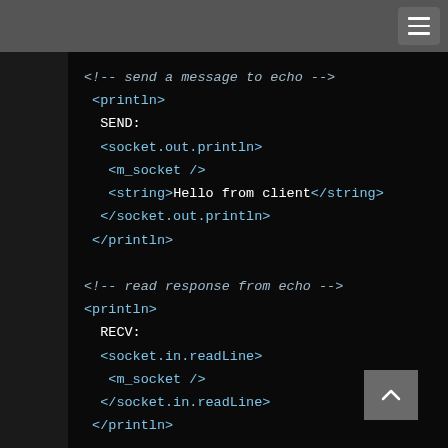[Figure (screenshot): Dark-themed code editor/browser screenshot showing XML-like code for socket programming. Contains comment tags, println tags, socket.out.println, socket.in.readLine, and socket.close elements. Top bar has hamburger menu icon. Back-to-top button visible at bottom right.]
<!-- send a message to echo -->
 <println>
  SEND:
  <socket.out.println>
   <m_socket />
   <string>Hello from client</string>
  </socket.out.println>
 </println>

<!-- read response from echo -->
<println>
  RECV:
  <socket.in.readLine>
   <m_socket />
  </socket.in.readLine>
 </println>

<!-- close the client socket -->
<socket.close><m_socket/></socket.close>